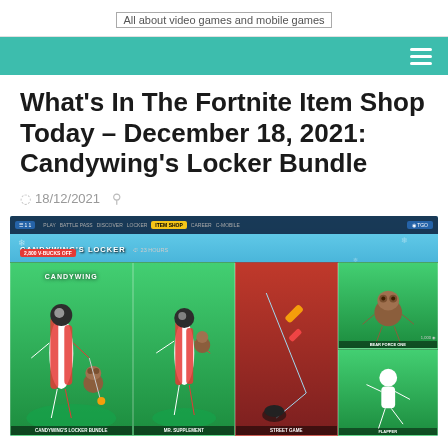All about video games and mobile games
What's In The Fortnite Item Shop Today - December 18, 2021: Candywing's Locker Bundle
18/12/2021
[Figure (screenshot): Fortnite Item Shop screenshot showing Candywing's Locker Bundle items including Candywing character skin, Mr. Supplement skin, Street Game pickaxe, and Flapper emote in the Item Shop interface]